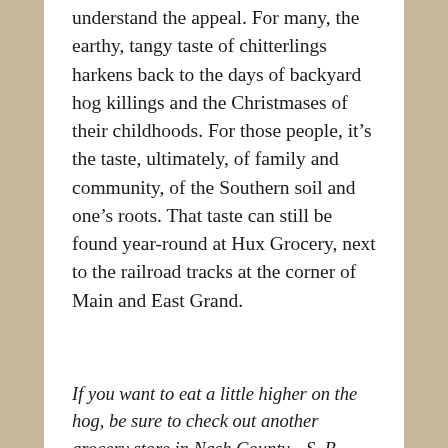understand the appeal. For many, the earthy, tangy taste of chitterlings harkens back to the days of backyard hog killings and the Christmases of their childhoods. For those people, it's the taste, ultimately, of family and community, of the Southern soil and one's roots. That taste can still be found year-round at Hux Grocery, next to the railroad tracks at the corner of Main and East Grand.
If you want to eat a little higher on the hog, be sure to check out another grocery store in Nash County—S. B. Smith & Son's Red & White Supermarket in Dortches, 5 miles north of Rocky Mount. (Photo below.) After I left Hux Grocery, I